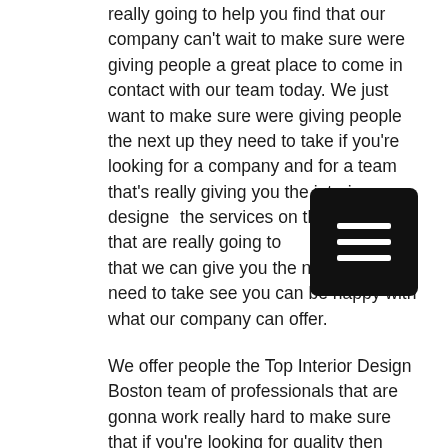really going to help you find that our company can't wait to make sure were giving people a great place to come in contact with our team today. We just want to make sure were giving people the next up they need to take if you're looking for a company and for a team that's really giving you the interior designer the services on the market that are really going to you find that we can give you the next if you need to take see you can be happy with what our company can offer.
[Figure (other): Black rounded rectangle button with three horizontal white lines (hamburger/menu icon)]
We offer people the Top Interior Design Boston team of professionals that are gonna work really hard to make sure that if you're looking for quality then you'll be happy to know that our team our company has a great services migrate team for you to come to that's going to help you see time and save money wherever working with budgets in the best way today. You